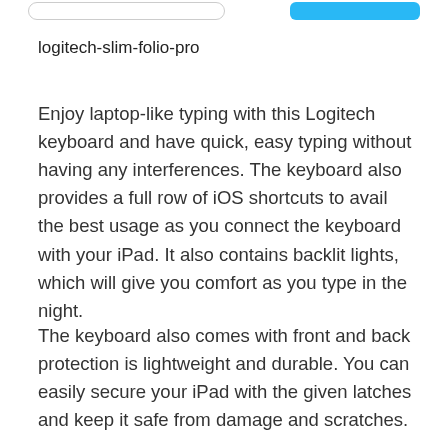logitech-slim-folio-pro
Enjoy laptop-like typing with this Logitech keyboard and have quick, easy typing without having any interferences. The keyboard also provides a full row of iOS shortcuts to avail the best usage as you connect the keyboard with your iPad. It also contains backlit lights, which will give you comfort as you type in the night.
The keyboard also comes with front and back protection is lightweight and durable. You can easily secure your iPad with the given latches and keep it safe from damage and scratches.